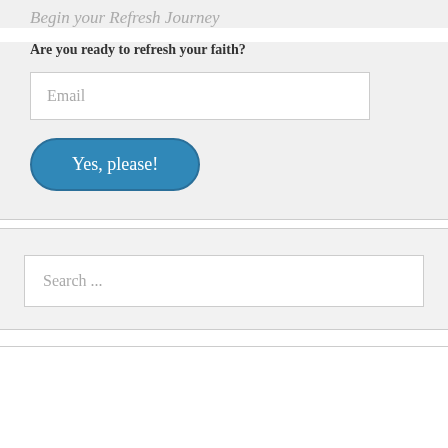Begin your Refresh Journey
Are you ready to refresh your faith?
Email
Yes, please!
Search ...